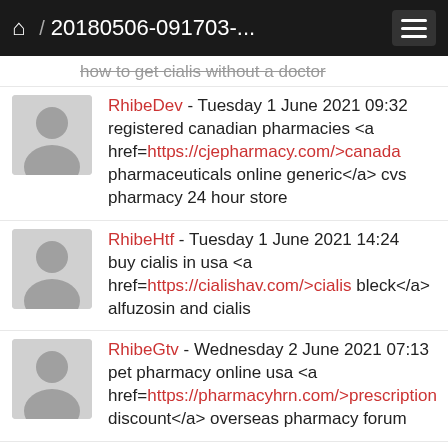🏠 / 20180506-091703-...
how to get cialis without a doctor
RhibeDev - Tuesday 1 June 2021 09:32 registered canadian pharmacies <a href=https://cjepharmacy.com/>canada pharmaceuticals online generic</a> cvs pharmacy 24 hour store
RhibeHtf - Tuesday 1 June 2021 14:24 buy cialis in usa <a href=https://cialishav.com/>cialis bleck</a> alfuzosin and cialis
RhibeGtv - Wednesday 2 June 2021 07:13 pet pharmacy online usa <a href=https://pharmacyhrn.com/>prescription discount</a> overseas pharmacy forum